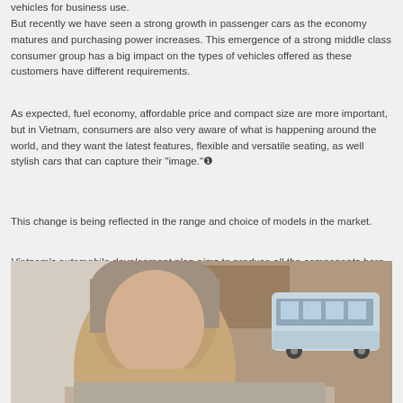vehicles for business use.
But recently we have seen a strong growth in passenger cars as the economy matures and purchasing power increases. This emergence of a strong middle class consumer group has a big impact on the types of vehicles offered as these customers have different requirements.
As expected, fuel economy, affordable price and compact size are more important, but in Vietnam, consumers are also very aware of what is happening around the world, and they want the latest features, flexible and versatile seating, as well stylish cars that can capture their "image."❶
This change is being reflected in the range and choice of models in the market.
Vietnam's automobile development plan aims to produce all the components here in the coming years. Do you think this is feasible?
[Figure (photo): Portrait photo of a person (head/upper body visible) with a small model bus/van visible in the background to the right, and a wooden door or wall in the background.]